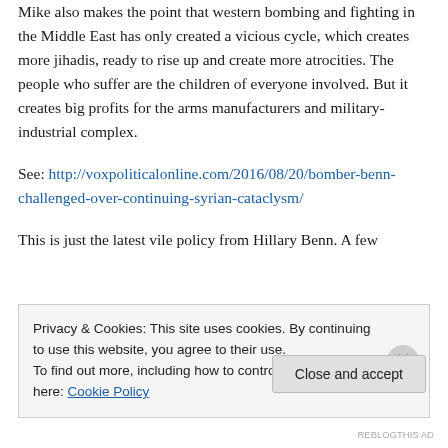Mike also makes the point that western bombing and fighting in the Middle East has only created a vicious cycle, which creates more jihadis, ready to rise up and create more atrocities. The people who suffer are the children of everyone involved. But it creates big profits for the arms manufacturers and military-industrial complex.
See: http://voxpoliticalonline.com/2016/08/20/bomber-benn-challenged-over-continuing-syrian-cataclysm/
This is just the latest vile policy from Hillary Benn. A few
Privacy & Cookies: This site uses cookies. By continuing to use this website, you agree to their use.
To find out more, including how to control cookies, see here: Cookie Policy
Close and accept